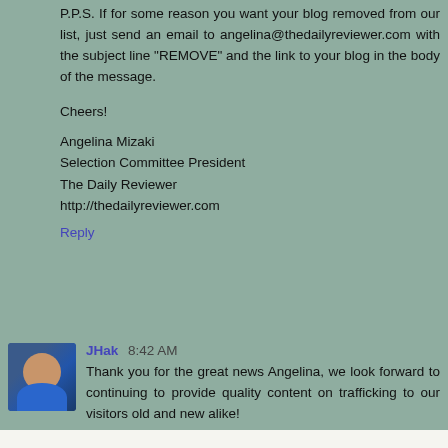P.P.S. If for some reason you want your blog removed from our list, just send an email to angelina@thedailyreviewer.com with the subject line "REMOVE" and the link to your blog in the body of the message.
Cheers!
Angelina Mizaki
Selection Committee President
The Daily Reviewer
http://thedailyreviewer.com
Reply
JHak 8:42 AM
Thank you for the great news Angelina, we look forward to continuing to provide quality content on trafficking to our visitors old and new alike!
Reply